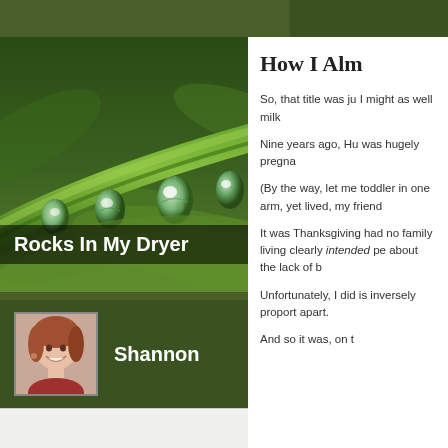[Figure (photo): Close-up photo of green plant stem with water droplets hanging from it, blurred green background]
Rocks In My Dryer
[Figure (photo): Profile avatar photo of a smiling woman with reddish-brown hair]
Shannon
2 FOLLOWING
287 FOLLOWERS
How I Alm
So, that title was ju I might as well milk
Nine years ago, Hu was hugely pregna
(By the way, let me toddler in one arm, yet lived, my friend
It was Thanksgiving had no family living clearly intended pe about the lack of b
Unfortunately, I did is inversely proport apart.
And so it was, on t